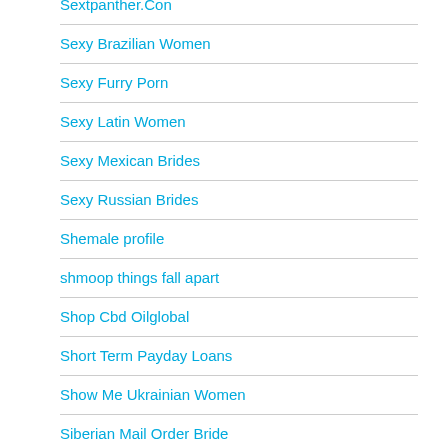Sextpanther.Con
Sexy Brazilian Women
Sexy Furry Porn
Sexy Latin Women
Sexy Mexican Brides
Sexy Russian Brides
Shemale profile
shmoop things fall apart
Shop Cbd Oilglobal
Short Term Payday Loans
Show Me Ukrainian Women
Siberian Mail Order Bride
Simple Website Builder